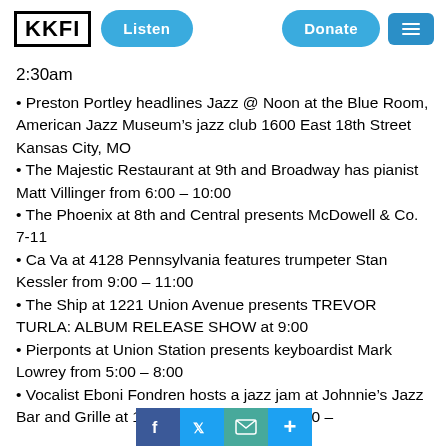KKFI | Listen | Donate | Menu
2:30am
• Preston Portley headlines Jazz @ Noon at the Blue Room, American Jazz Museum's jazz club 1600 East 18th Street Kansas City, MO
• The Majestic Restaurant at 9th and Broadway has pianist Matt Villinger from 6:00 – 10:00
• The Phoenix at 8th and Central presents McDowell & Co. 7-11
• Ca Va at 4128 Pennsylvania features trumpeter Stan Kessler from 9:00 – 11:00
• The Ship at 1221 Union Avenue presents TREVOR TURLA: ALBUM RELEASE SHOW at 9:00
• Pierponts at Union Station presents keyboardist Mark Lowrey from 5:00 – 8:00
• Vocalist Eboni Fondren hosts a jazz jam at Johnnie's Jazz Bar and Grille at 1400 Main Street from 7:00 –